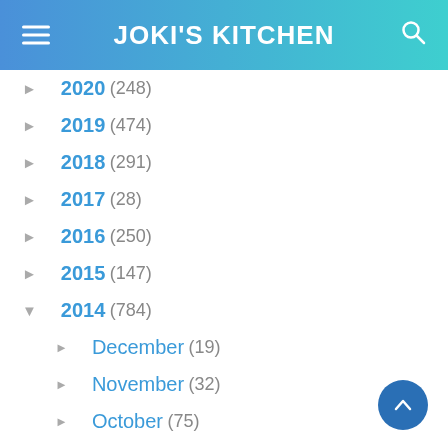JOKI'S KITCHEN
2020 (248)
2019 (474)
2018 (291)
2017 (28)
2016 (250)
2015 (147)
2014 (784)
December (19)
November (32)
October (75)
September (99)
August (58)